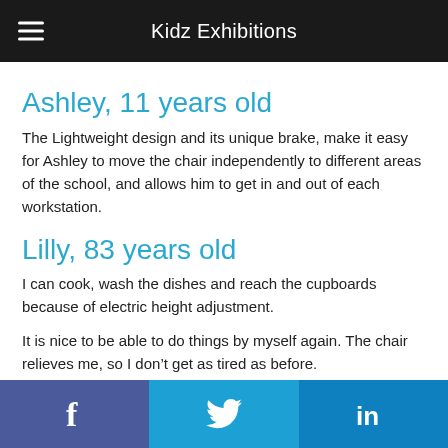Kidz Exhibitions
Ashley, 11 years old
The Lightweight design and its unique brake, make it easy for Ashley to move the chair independently to different areas of the school, and allows him to get in and out of each workstation.
Lilly, 83 years old
I can cook, wash the dishes and reach the cupboards because of electric height adjustment.
It is nice to be able to do things by myself again. The chair relieves me, so I don’t get as tired as before.
Claus, 59 years old
Facebook Twitter LinkedIn